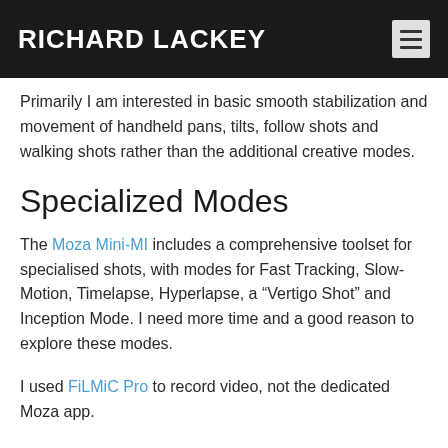RICHARD LACKEY
Primarily I am interested in basic smooth stabilization and movement of handheld pans, tilts, follow shots and walking shots rather than the additional creative modes.
Specialized Modes
The Moza Mini-MI includes a comprehensive toolset for specialised shots, with modes for Fast Tracking, Slow-Motion, Timelapse, Hyperlapse, a “Vertigo Shot” and Inception Mode. I need more time and a good reason to explore these modes.
I used FiLMiC Pro to record video, not the dedicated Moza app.